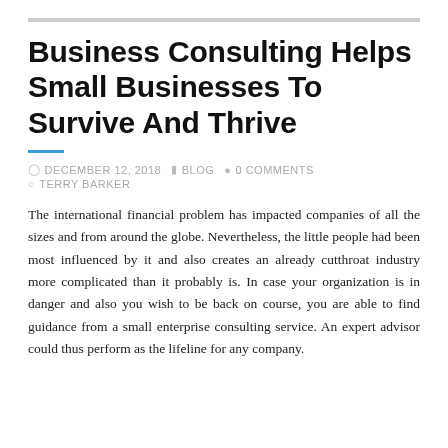Business Consulting Helps Small Businesses To Survive And Thrive
DECEMBER 12, 2018   BLOG   0 COMMENTS   TERRY BARKER
The international financial problem has impacted companies of all the sizes and from around the globe. Nevertheless, the little people had been most influenced by it and also creates an already cutthroat industry more complicated than it probably is. In case your organization is in danger and also you wish to be back on course, you are able to find guidance from a small enterprise consulting service. An expert advisor could thus perform as the lifeline for any company.